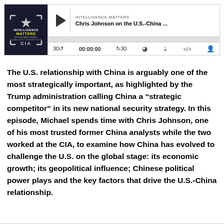[Figure (screenshot): Podcast player embed showing 'Intelligence Matters' podcast with album art (dark background with star and CIA branding), play button, episode title 'Chris Johnson on the U.S.-China ...', progress bar, and controls showing 30s skip back, 00:00:00 timestamp, 30s skip forward, and icons for RSS, download, embed code, and headphones.]
The U.S. relationship with China is arguably one of the most strategically important, as highlighted by the Trump administration calling China a “strategic competitor” in its new national security strategy. In this episode, Michael spends time with Chris Johnson, one of his most trusted former China analysts while the two worked at the CIA, to examine how China has evolved to challenge the U.S. on the global stage: its economic growth; its geopolitical influence; Chinese political power plays and the key factors that drive the U.S.-China relationship.